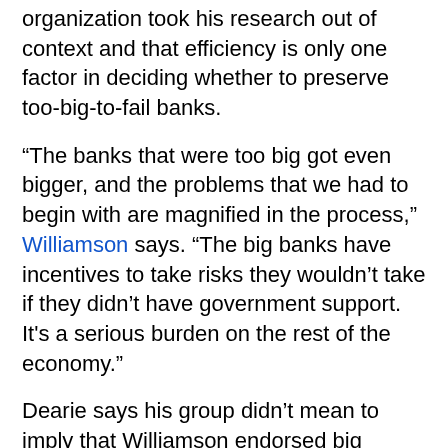organization took his research out of context and that efficiency is only one factor in deciding whether to preserve too-big-to-fail banks.
“The banks that were too big got even bigger, and the problems that we had to begin with are magnified in the process,” Williamson says. “The big banks have incentives to take risks they wouldn’t take if they didn’t have government support. It’s a serious burden on the rest of the economy.”
Dearie says his group didn’t mean to imply that Williamson endorsed big banks.
Top officials in President Barack Obama’s administration sided with the FSF in arguing against legislative curbs on the size of banks.
Geithner, Kaufman
On May 4, 2010, Geithner visited Kaufman in his Capitol Hill office. As president of the New York Fed in 2007 and 2008, Geithner helped design and run the central bank’s lending programs. The New York Fed supervised four